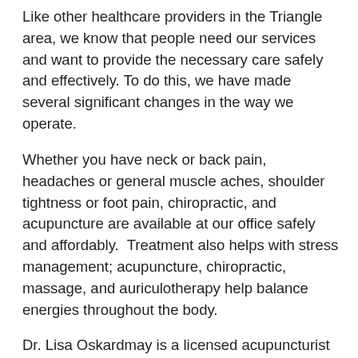Like other healthcare providers in the Triangle area, we know that people need our services and want to provide the necessary care safely and effectively. To do this, we have made several significant changes in the way we operate.
Whether you have neck or back pain, headaches or general muscle aches, shoulder tightness or foot pain, chiropractic, and acupuncture are available at our office safely and affordably.  Treatment also helps with stress management; acupuncture, chiropractic, massage, and auriculotherapy help balance energies throughout the body.
Dr. Lisa Oskardmay is a licensed acupuncturist and chiropractic physician with over twenty-five years of clinical experience who can quickly help you get to the root of your problem to minimize time in-office. Our goal is your well-being and the health and safety of everyone.